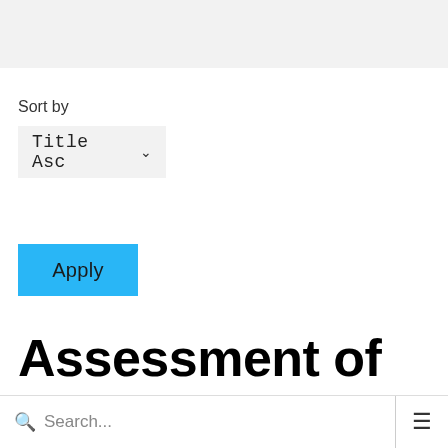[Figure (screenshot): Gray banner area at the top of the page, likely a navigation or header region.]
Sort by
[Figure (screenshot): Dropdown selector showing 'Title Asc' with a chevron/arrow indicating it is expandable.]
[Figure (screenshot): Blue 'Apply' button.]
Assessment of Farmland Hosting
Search...